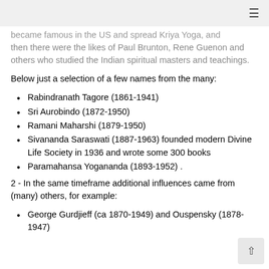≡
became famous in the US and spread Kriya Yoga, and then there were the likes of Paul Brunton, Rene Guenon and others who studied the Indian spiritual masters and teachings.
Below just a selection of a few names from the many:
Rabindranath Tagore (1861-1941)
Sri Aurobindo (1872-1950)
Ramani Maharshi (1879-1950)
Sivananda Saraswati (1887-1963) founded modern Divine Life Society in 1936 and wrote some 300 books
Paramahansa Yogananda (1893-1952) .
2 - In the same timeframe additional influences came from (many) others, for example:
George Gurdjieff (ca 1870-1949) and Ouspensky (1878-1947)